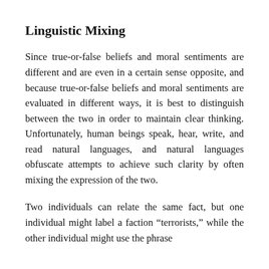Linguistic Mixing
Since true-or-false beliefs and moral sentiments are different and are even in a certain sense opposite, and because true-or-false beliefs and moral sentiments are evaluated in different ways, it is best to distinguish between the two in order to maintain clear thinking. Unfortunately, human beings speak, hear, write, and read natural languages, and natural languages obfuscate attempts to achieve such clarity by often mixing the expression of the two.
Two individuals can relate the same fact, but one individual might label a faction “terrorists,” while the other individual might use the phrase